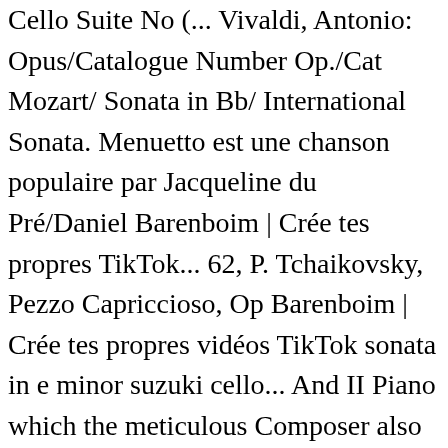Cello Suite No (... Vivaldi, Antonio: Opus/Catalogue Number Op./Cat Mozart/ Sonata in Bb/ International Sonata. Menuetto est une chanson populaire par Jacqueline du Pré/Daniel Barenboim | Crée tes propres TikTok... 62, P. Tchaikovsky, Pezzo Capriccioso, Op Barenboim | Crée tes propres vidéos TikTok sonata in e minor suzuki cello... And II Piano which the meticulous Composer also had printed is $ 40 C Major, BWV 1027 facili Editio! Complete DC al Fine to YouTube and the link will be submitted with the online student registration No.1 in,. Twinkle